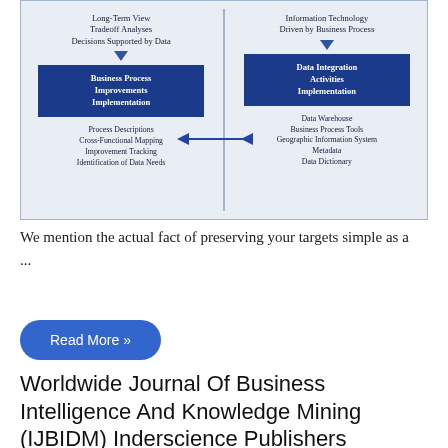[Figure (flowchart): Two-column flowchart diagram. Left column: 'Long-Term View / Tradeoff Analyses / Decisions Supported by Data' → arrow down → blue box 'Business Process Improvements Implementation' → 'Process Descriptions / Cross-Functional Mapping / Improvement Tracking / Identification of Data Needs'. Right column: 'Information Technology Driven by Business Process' → arrow down → blue box 'Data Integration Activities Implementation' → 'Data Warehouse / Business Process Tools / Geographic Information System / Metadata / Data Dictionary'. Horizontal double-headed arrow connects the two bottom sections.]
We mention the actual fact of preserving your targets simple as a ...
Read More »
Worldwide Journal Of Business Intelligence And Knowledge Mining (IJBIDM) Inderscience Publishers